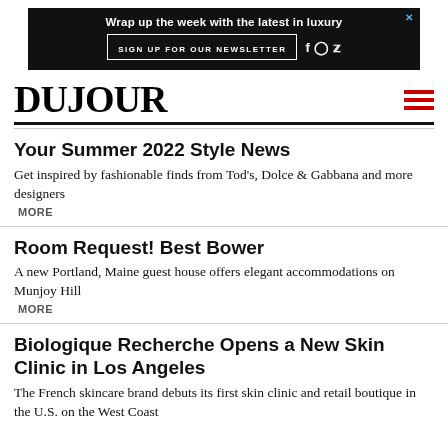[Figure (screenshot): Advertisement banner: black background with text 'Wrap up the week with the latest in luxury', a 'SIGN UP FOR OUR NEWSLETTER' button, and Facebook/Instagram/Twitter social icons. Blue X close button in top-right corner.]
DUJOUR
Your Summer 2022 Style News
Get inspired by fashionable finds from Tod's, Dolce & Gabbana and more designers
MORE
Room Request! Best Bower
A new Portland, Maine guest house offers elegant accommodations on Munjoy Hill
MORE
Biologique Recherche Opens a New Skin Clinic in Los Angeles
The French skincare brand debuts its first skin clinic and retail boutique in the U.S. on the West Coast